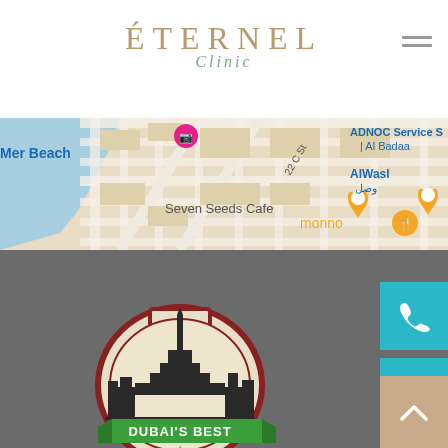[Figure (logo): Eternel Clinic logo with brand name in gold uppercase letters and 'Clinic' in green italic script below]
[Figure (map): Google Maps screenshot showing area near Mer Beach, Seven Seeds Cafe, ADNOC Service Station Al Badaa, AlWasl, and monno restaurant in Dubai]
[Figure (illustration): Dubai's Best badge/seal showing Dubai skyline with Burj Khalifa silhouette, circular border, green ribbon banner with 'DUBAI'S BEST' text and green star]
[Figure (other): Teal phone call button icon]
[Figure (other): Teal WhatsApp icon button]
[Figure (other): Beige/tan scroll-to-top arrow button]